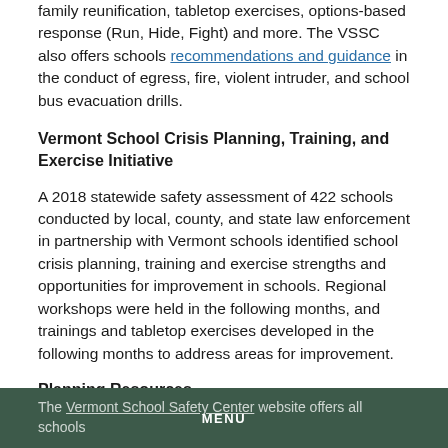family reunification, tabletop exercises, options-based response (Run, Hide, Fight) and more. The VSSC also offers schools recommendations and guidance in the conduct of egress, fire, violent intruder, and school bus evacuation drills.
Vermont School Crisis Planning, Training, and Exercise Initiative
A 2018 statewide safety assessment of 422 schools conducted by local, county, and state law enforcement in partnership with Vermont schools identified school crisis planning, training and exercise strengths and opportunities for improvement in schools. Regional workshops were held in the following months, and trainings and tabletop exercises developed in the following months to address areas for improvement.
Planning Resources
The Vermont School Safety Center website offers all schools